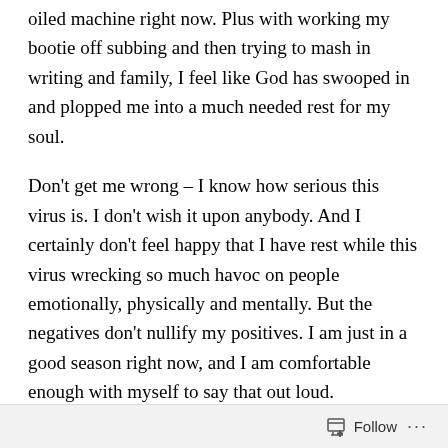oiled machine right now. Plus with working my bootie off subbing and then trying to mash in writing and family, I feel like God has swooped in and plopped me into a much needed rest for my soul.
Don't get me wrong – I know how serious this virus is. I don't wish it upon anybody. And I certainly don't feel happy that I have rest while this virus wrecking so much havoc on people emotionally, physically and mentally. But the negatives don't nullify my positives. I am just in a good season right now, and I am comfortable enough with myself to say that out loud.
On a different note, I'm not making my life's fortune on Medium yet, so who knows if I'll be subbing next year still or not. But I'm thrilled that my freelance side gigs have
Follow ...